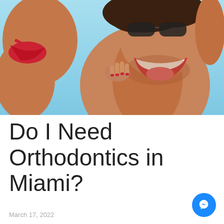[Figure (photo): Two people laughing and smiling outdoors against a blue sky background, shot from a low angle. A man with curly hair wearing sunglasses is laughing with his mouth open, and a woman in a red bikini top is beside him. Both appear tanned and are enjoying a sunny day.]
Do I Need Orthodontics in Miami?
March 17, 2022